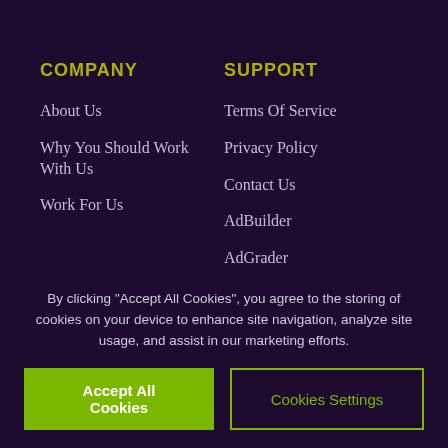COMPANY
About Us
Why You Should Work With Us
Work For Us
SUPPORT
Terms Of Service
Privacy Policy
Contact Us
AdBuilder
AdGrader
FOLLOW
Facebook
Twitter
LinkedIn
By clicking "Accept All Cookies", you agree to the storing of cookies on your device to enhance site navigation, analyze site usage, and assist in our marketing efforts.
Accept All Cookies
Cookies Settings